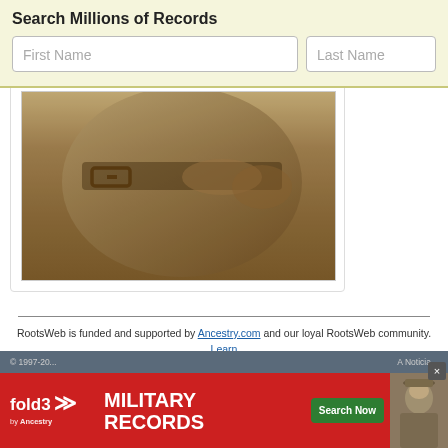Search Millions of Records
[Figure (photo): Sepia-toned historical photograph showing a person's torso and hands, possibly in military or period clothing with a belt and buckle visible]
RootsWeb is funded and supported by Ancestry.com and our loyal RootsWeb community. Learn more.
[Figure (infographic): Fold3 by Ancestry advertisement banner: red background with 'fold3 MILITARY RECORDS' text, green 'Search Now' button, and a military soldier photo on the right]
© 1997-20... A Noticia...